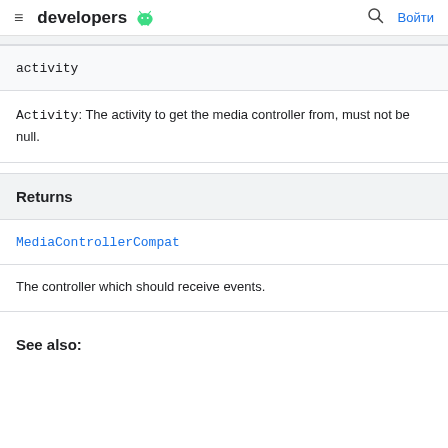developers  Войти
activity
Activity: The activity to get the media controller from, must not be null.
Returns
MediaControllerCompat
The controller which should receive events.
See also: